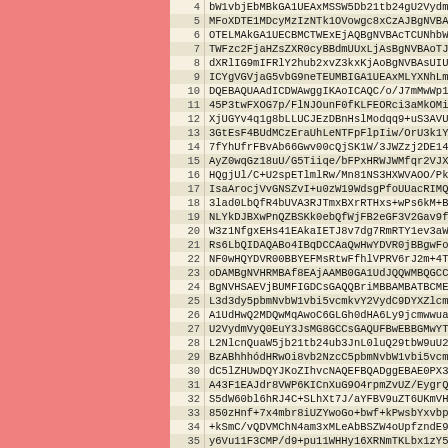| Line | Content |
| --- | --- |
| 4 | bW1vbjEbMBkGA1UEAxMSSW5Db21tb24gU2VydmVyIENBMB4 |
| 5 | MFoXDTE1MDcyMzIzNTk1OVowgc8xCzAJBgNVBAYTAlVTMQ4 |
| 6 | OTELMAkGA1UECBMCTWExEjAQBgNVBAcTCUNhbWJyaWRnZTE |
| 7 | TWFzc2FjaHZsZXR0cyBBdmUUxLjAsBgNVBAoTJU1hc3NhY2h |
| 8 | dXRlIG9mIFRlY2hub2xvZ3kxKjAoBgNVBAsUIUluZm9ybWF |
| 9 | ICYgVGVjaG5vbG9neTEUMBIGA1UEAxMLYXNhLm1pdC5lZHU |
| 10 | DQEBAQUAAdICDWAwggIKAoICAQC/o/J7mMwWp1fmkoU0VvH |
| 11 | 45P3twFXOG7p/FlNJOunF0fKLFEORci3aMkOMibgkdMGXIx |
| 12 | XjUGYv4q1g8bLLUCJEzDBnHslModqq9+uS3AVUvMvFE9dmhl |
| 13 | 3GtEsF4BUdMCzEraUhLeNTFpFlpIiw/OrU3k1YsRNn+HHP2 |
| 14 | 7fYhUfrFBvAb66Gwv00cQjSK1W/3JWZzj2DE140zkfRG0pc |
| 15 | AyZ0wqGz18uU/G5Tiiqe/bFPxHRWJWMfqr2VJXicRUYbDCF |
| 16 | HQgjUl/C+U2spETlmlRw/Mn81NS3HXWVAOO/PkzzQ80Wxwk |
| 17 | IsaArocjVvGNSZvI+u0zW19WdsgPfoUUacRIMQc5pTSB8ms |
| 18 | 3lad0LbQfR4bUVA3RJTmxBXrRTHxs+wPs6kM+BxHx1EABe/ |
| 19 | NLYkDJBXwPnQZBSKk0ebQfWjFB2eGF3V2Gav9fPIL7ynAqf |
| 20 | W3z1NfgxEHs41EAkaIETJ8v7dg7RmRTY1ev3aWSPr4+CuyQ |
| 21 | Rs6LbQIDAQABo4IBqDCCAaQwHwYDVR0jBBgwFoAUSE9a+i9 |
| 22 | NF0wHQYDVR00BBYEFMsRtwFfhlVPRV6rJ2m+4TyJelViMA4 |
| 23 | oDAMBgNVHRMBAf8EAjAAMB0GA1UdJQQWMBQGCCsGAQUFBwMI |
| 24 | BgNVHSAEVjBUMFIGDCsGAQQBriMBBAMBATBCMEAGCCsGAQUI |
| 25 | L3d3dy5pbmNvbW1vbi5vcmkvY2VydC9DYXZlcm5pb2IzJ5L2N |
| 26 | A1UdHwQ2MDQwMqAwoC6GLGh0dHA6Ly9jcmwwuaW5jb21tb24 |
| 27 | U2VydmVyQ0EuY3JsMG8GCCsGAQUFBwEBBGMwYTA5BggrBgEl |
| 28 | L2NlcnQuaW5jb21tb24ub3JnL0luQ29tbW9uU2VydmVyQ0El |
| 29 | BzABhhhódHRwOi8vb2NzcC5pbmNvbW1vbi5vcmcwFgYDVR0l |
| 30 | dC5lZHUwDQYJKoZIhvcNAQEFBQADggEBAE0PX3EQtssAWFz |
| 31 | A43F1EAJdr8VWP6KICnXuG9O4rpmZvUZ/EygrQq4WAOyEIV |
| 32 | S5dW60bl6hRJ4C+SLhXt7J/aYFBV9uZT6UKmVHwXv88th00 |
| 33 | 850zHnf+7x4mbr8iUZYwoGo+bwf+kPwsbYxvbpU+2pHr2akl |
| 34 | +kSmC/vQDVMChN4am3xMLeAbBSZW4oUpfzndE9zDzQgA3fa |
| 35 | y6Vu11F3CMP/d9+pu11WHHy16XRNmTKLbx1zY5n+hF5JhAT |